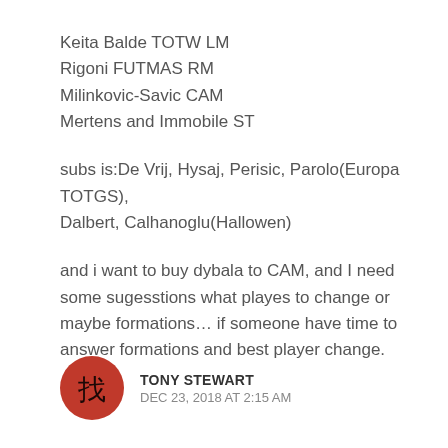Keita Balde TOTW LM
Rigoni FUTMAS RM
Milinkovic-Savic CAM
Mertens and Immobile ST
subs is:De Vrij, Hysaj, Perisic, Parolo(Europa TOTGS), Dalbert, Calhanoglu(Hallowen)
and i want to buy dybala to CAM, and I need some sugesstions what playes to change or maybe formations… if someone have time to answer formations and best player change.
TONY STEWART
DEC 23, 2018 AT 2:15 AM